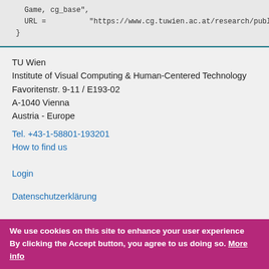Game, cg_base",
    URL =          "https://www.cg.tuwien.ac.at/research/publications/201..."
}
TU Wien
Institute of Visual Computing & Human-Centered Technology
Favoritenstr. 9-11 / E193-02
A-1040 Vienna
Austria - Europe
Tel. +43-1-58801-193201
How to find us
Login
Datenschutzerklärung
We use cookies on this site to enhance your user experience By clicking the Accept button, you agree to us doing so. More info